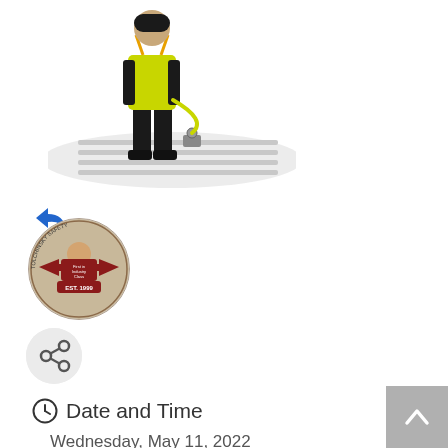[Figure (photo): Worker in yellow safety vest and black pants wearing fall arrest harness with yellow lanyard attached to a roof anchor on a metal corrugated roof]
[Figure (illustration): Blue reply/back arrow icon]
[Figure (logo): Circular logo for Tolchinsky Safety, EST. 1999, with red directional arrows and text 'First in Industry' and 'First in Class']
[Figure (illustration): Share icon (circle with share symbol) on grey circular button]
Date and Time
Wednesday, May 11, 2022